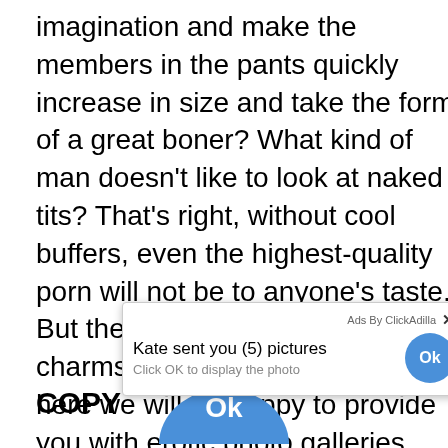imagination and make the members in the pants quickly increase in size and take the form of a great boner? What kind of man doesn't like to look at naked tits? That's right, without cool buffers, even the highest-quality porn will not be to anyone's taste. But the size of these female charms is a matter of taste, so here we will be happy to provide you with erotic photo galleries with owners of large and small tits. Tired of monotony and boring sex? Why not look at the stunning beauties in uniform? Maybe you like nurses in short white coats or maids with lace aprons, or maybe strict law enforcement officers? There is a whole section for yo...xual drea...ir porta...d just seeke...
[Figure (screenshot): Ad popup overlay from ClickAdilla showing 'Kate sent you (5) pictures' with 'Click OK to display the photo' text and a blue OK button circle]
COPY
[Figure (screenshot): Blue circle with 'Ok' text partially visible at bottom center of page, and a scroll-to-top circular arrow button on the right side]